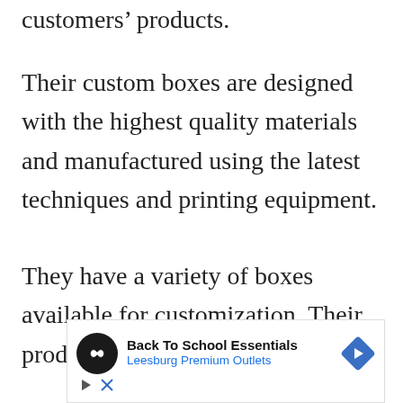customers' products.
Their custom boxes are designed with the highest quality materials and manufactured using the latest techniques and printing equipment.
They have a variety of boxes available for customization. Their products include custom
[Figure (other): Advertisement banner for Back To School Essentials at Leesburg Premium Outlets, featuring a black circular logo with an infinity/arrow symbol, the text 'Back To School Essentials' in bold and 'Leesburg Premium Outlets' in blue, a blue diamond navigation arrow icon, and small play and close control icons.]